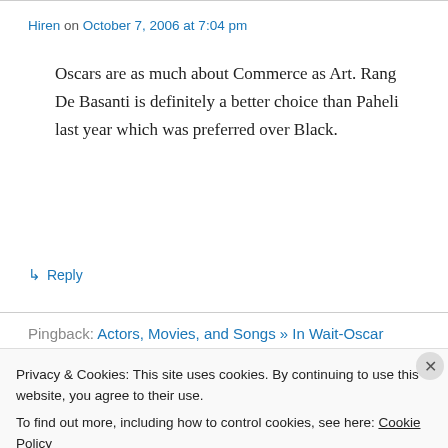Hiren on October 7, 2006 at 7:04 pm
Oscars are as much about Commerce as Art. Rang De Basanti is definitely a better choice than Paheli last year which was preferred over Black.
↳ Reply
Pingback: Actors, Movies, and Songs » In Wait-Oscar
Sachiniti
Privacy & Cookies: This site uses cookies. By continuing to use this website, you agree to their use.
To find out more, including how to control cookies, see here: Cookie Policy